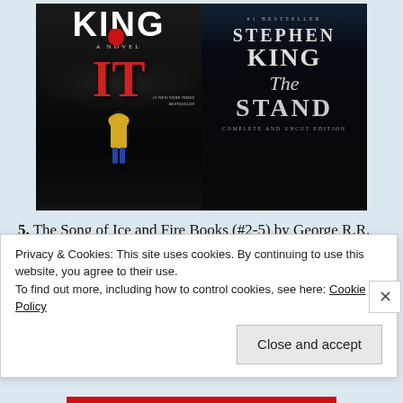[Figure (photo): Two book covers side by side: Left is Stephen King's 'IT' featuring a child in a yellow raincoat holding a red balloon against a dark backdrop, labeled #1 New York Times Bestseller. Right is Stephen King's 'The Stand: Complete and Uncut Edition', labeled #1 Bestseller, with dark atmospheric imagery.]
5.  The Song of Ice and Fire Books (#2-5) by George R.R. Martin – I'm giving this the number five spot, because A Clash of Kings is only 784 pages but together they'd include...
Privacy & Cookies: This site uses cookies. By continuing to use this website, you agree to their use.
To find out more, including how to control cookies, see here: Cookie Policy
Close and accept